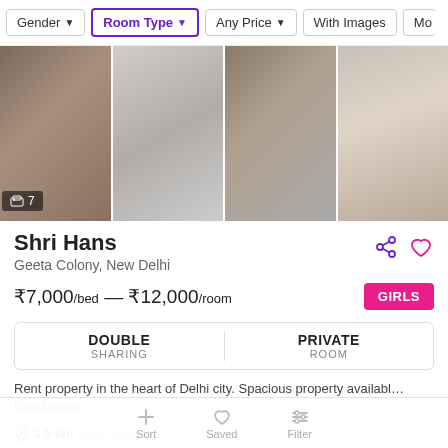Gender | Room Type | Any Price | With Images | Mo...
[Figure (photo): Four blurry room/apartment interior photos shown side by side in a strip. Badge shows 7 images total.]
Shri Hans
Geeta Colony, New Delhi
₹7,000/bed — ₹12,000/room
GIRLS
| DOUBLE SHARING | PRIVATE ROOM |
| --- | --- |
Rent property in the heart of Delhi city. Spacious property availabl... Read more
3.9 km from Shahdara
Mohit Sethi
Landlord
Sort | Saved | Filter